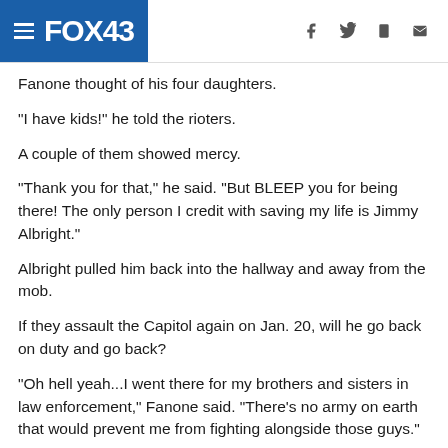FOX43
Fanone thought of his four daughters.
"I have kids!" he told the rioters.
A couple of them showed mercy.
"Thank you for that," he said. "But BLEEP you for being there! The only person I credit with saving my life is Jimmy Albright."
Albright pulled him back into the hallway and away from the mob.
If they assault the Capitol again on Jan. 20, will he go back on duty and go back?
"Oh hell yeah...I went there for my brothers and sisters in law enforcement," Fanone said. "There’s no army on earth that would prevent me from fighting alongside those guys."